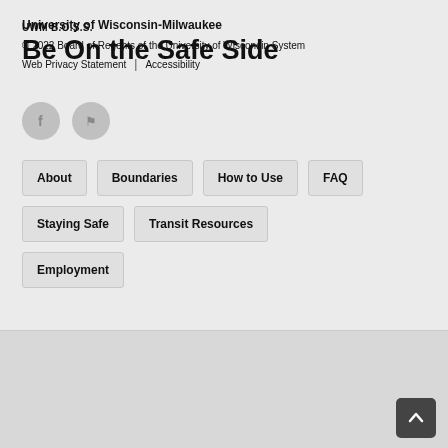UWM B.O.S.S.
Be On the Safe Side
[Figure (illustration): Two circular social media icons: Facebook (f) and Foursquare (flag/pin logo), both in gray]
About
Boundaries
How to Use
FAQ
Staying Safe
Transit Resources
Employment
University of Wisconsin-Milwaukee
© 2022 Board of Regents of the University of Wisconsin System
Web Privacy Statement | Accessibility